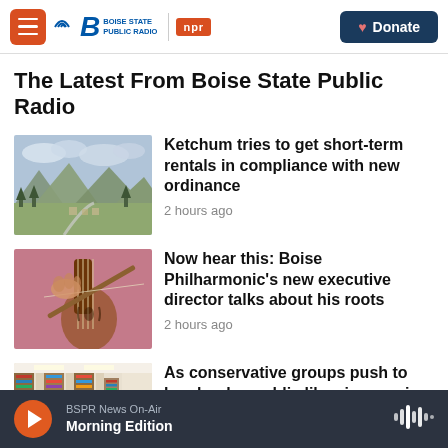Boise State Public Radio | NPR | Donate
The Latest From Boise State Public Radio
[Figure (photo): Aerial view of Ketchum Idaho valley and mountains]
Ketchum tries to get short-term rentals in compliance with new ordinance
2 hours ago
[Figure (photo): Close-up of violin and bow being played]
Now hear this: Boise Philharmonic's new executive director talks about his roots
2 hours ago
[Figure (photo): Library shelves with books]
As conservative groups push to ban books, public librarians resign
BSPR News On-Air | Morning Edition